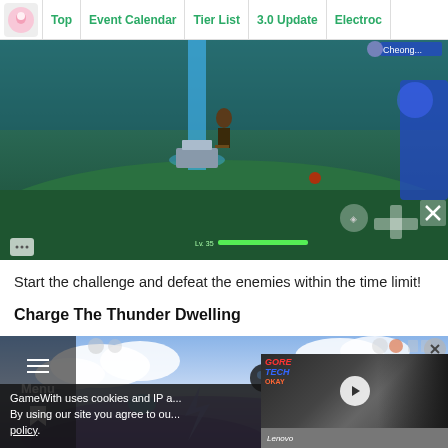Top | Event Calendar | Tier List | 3.0 Update | Electroc...
[Figure (screenshot): Game screenshot showing a character standing in a green field area with a blue beam of light, game UI elements visible including chat bubble, health bar, and directional pad]
Start the challenge and defeat the enemies within the time limit!
Charge The Thunder Dwelling
[Figure (screenshot): Game screenshot showing a sky area with clouds and purple/blue atmosphere, game UI icons visible at top]
GameWith uses cookies and IP a... By using our site you agree to ou... policy.
[Figure (screenshot): Embedded video overlay showing GoreTech channel thumbnail with a play button, displayed over the game screenshot]